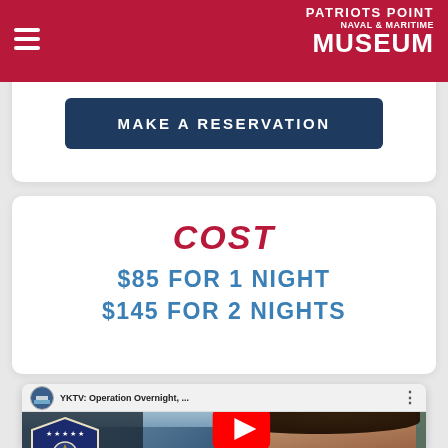PATRIOTS POINT NAVAL & MARITIME MUSEUM
MAKE A RESERVATION
COST
$85 FOR 1 NIGHT
$145 FOR 2 NIGHTS
[Figure (screenshot): YouTube video thumbnail for 'YKTV: Operation Overnight,...' featuring the Patriots Point Naval & Maritime Museum logo, Operation Overnight badge, YouTube play button, and a woman smiling outdoors]